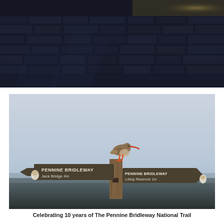[Figure (photo): Close-up photograph of dark wet cobblestone pavement with moody blue-dark tones and some golden/tan coloring in the upper right corner.]
[Figure (photo): Photograph of a redshank bird (brown bird with bright red-orange legs and beak) perched on top of a wooden Pennine Bridleway signpost. The signpost reads 'PENNINE BRIDLEWAY Jack Bridge 4m' on one arm and 'PENNINE BRIDLEWAY Lddop Reservoir 1m' on the other. Background is a misty blue-grey sky and dark moorland.]
Celebrating 10 years of The Pennine Bridleway National Trail